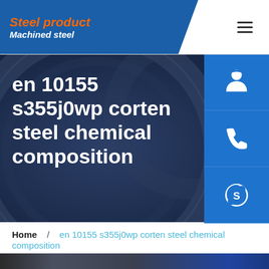Steel product / Machined steel
en 10155 s355j0wp corten steel chemical composition
[Figure (screenshot): Hero banner with dark blue steel pipe background image and white large title text reading 'en 10155 s355j0wp corten steel chemical composition', with three blue side icon buttons for customer service (headset), phone, and Skype]
Home / en 10155 s355j0wp corten steel chemical composition
[Figure (photo): Bottom strip of a photo showing industrial steel manufacturing facility interior]